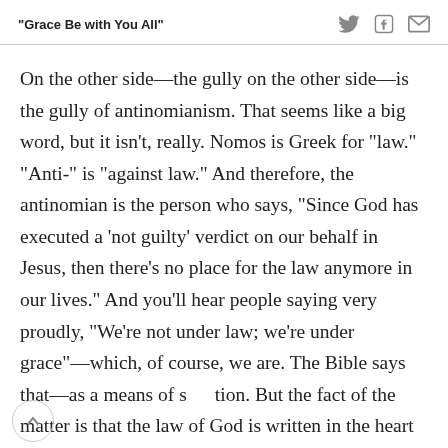“Grace Be with You All”
On the other side—the gully on the other side—is the gully of antinomianism. That seems like a big word, but it isn’t, really. Nomos is Greek for “law.” “Anti-” is “against law.” And therefore, the antinomian is the person who says, “Since God has executed a ‘not guilty’ verdict on our behalf in Jesus, then there’s no place for the law anymore in our lives.” And you’ll hear people saying very proudly, “We’re not under law; we’re under grace”—which, of course, we are. The Bible says that—as a means of s… tion. But the fact of the matter is that the law of God is written in the heart of a child of God in